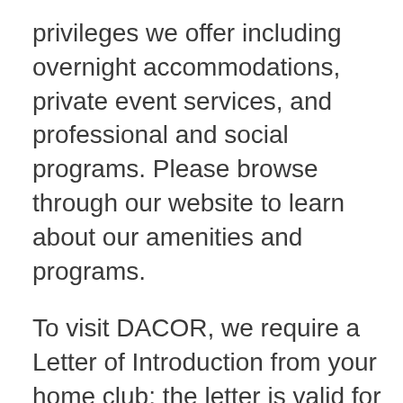privileges we offer including overnight accommodations, private event services, and professional and social programs. Please browse through our website to learn about our amenities and programs.
To visit DACOR, we require a Letter of Introduction from your home club; the letter is valid for one month from the date of issue. Visitors are subject to all our policies, which should be reviewed before visiting.
To inquire about